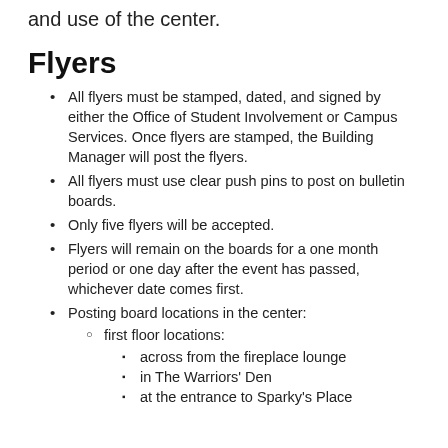and use of the center.
Flyers
All flyers must be stamped, dated, and signed by either the Office of Student Involvement or Campus Services. Once flyers are stamped, the Building Manager will post the flyers.
All flyers must use clear push pins to post on bulletin boards.
Only five flyers will be accepted.
Flyers will remain on the boards for a one month period or one day after the event has passed, whichever date comes first.
Posting board locations in the center:
first floor locations:
across from the fireplace lounge
in The Warriors' Den
at the entrance to Sparky's Place